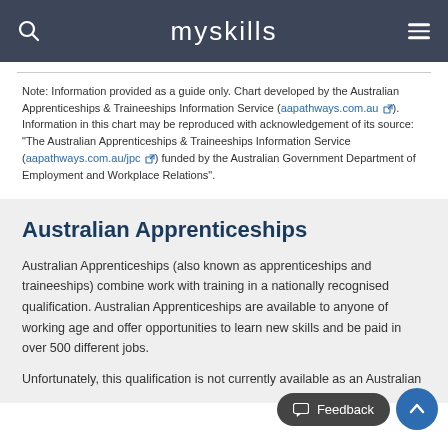myskills
Note: Information provided as a guide only. Chart developed by the Australian Apprenticeships & Traineeships Information Service (aapathways.com.au). Information in this chart may be reproduced with acknowledgement of its source: "The Australian Apprenticeships & Traineeships Information Service (aapathways.com.au/jpc) funded by the Australian Government Department of Employment and Workplace Relations".
Australian Apprenticeships
Australian Apprenticeships (also known as apprenticeships and traineeships) combine work with training in a nationally recognised qualification. Australian Apprenticeships are available to anyone of working age and offer opportunities to learn new skills and be paid in over 500 different jobs.
Unfortunately, this qualification is not currently available as an Australian